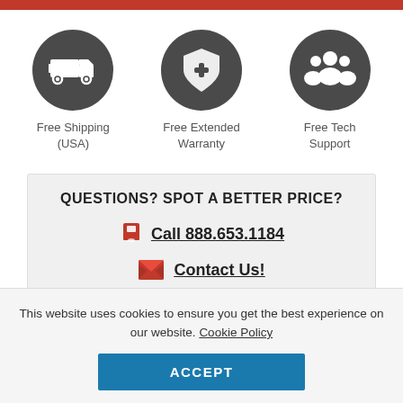[Figure (illustration): Red horizontal bar at the top of the page]
[Figure (illustration): Three circular dark grey icons: a delivery truck (Free Shipping USA), a shield with plus (Free Extended Warranty), and a group of people (Free Tech Support)]
Free Shipping (USA)
Free Extended Warranty
Free Tech Support
QUESTIONS? SPOT A BETTER PRICE?
Call 888.653.1184
Contact Us!
This website uses cookies to ensure you get the best experience on our website. Cookie Policy
ACCEPT